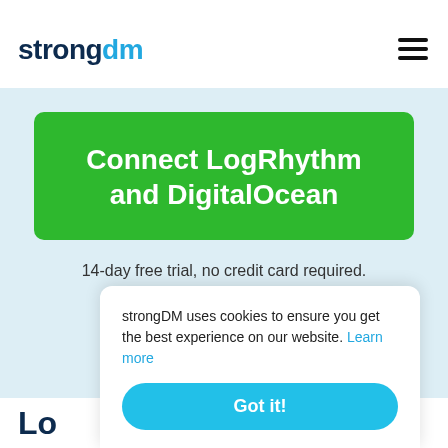and building a team to LogRhythm data storage, consolidation, and analys
[Figure (logo): strongDM logo — 'strong' in dark navy bold and 'dm' in blue bold]
[Figure (other): Hamburger menu icon (three horizontal lines)]
Connect LogRhythm and DigitalOcean
14-day free trial, no credit card required.
Lo
strongDM uses cookies to ensure you get the best experience on our website. Learn more
Got it!